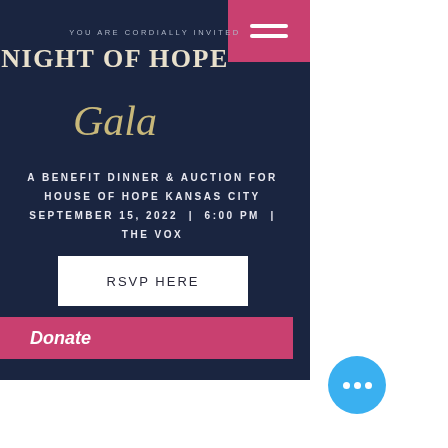[Figure (screenshot): Mobile website screenshot showing Night of Hope Gala event invitation with dark navy background, pink menu button, gold and white title text, event details, RSVP HERE button, and Donate bar.]
YOU ARE CORDIALLY INVITED
NIGHT OF HOPE
Gala
A BENEFIT DINNER & AUCTION FOR HOUSE OF HOPE KANSAS CITY SEPTEMBER 15, 2022 | 6:00 PM | THE VOX
RSVP HERE
Donate